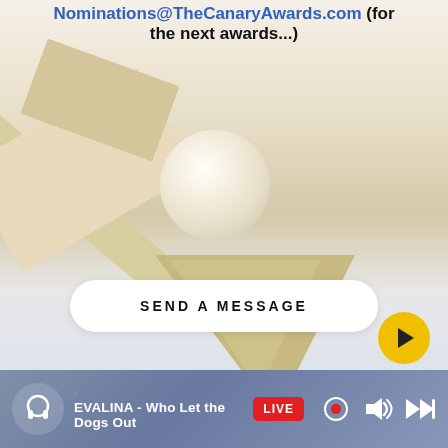Nominations@TheCanaryAwards.com (for the next awards...)
[Figure (photo): Background photo of paper/origami shapes including a crumpled paper ball and paper plane triangle on white/light background]
SEND A MESSAGE
[Figure (illustration): Facebook icon 'f' in orange on white circle button]
[Figure (screenshot): Media player bar at bottom with headphone icon, track title 'EVALINA - Who Let the Dogs Out', LIVE badge, and playback controls]
EVALINA - Who Let the Dogs Out
LIVE